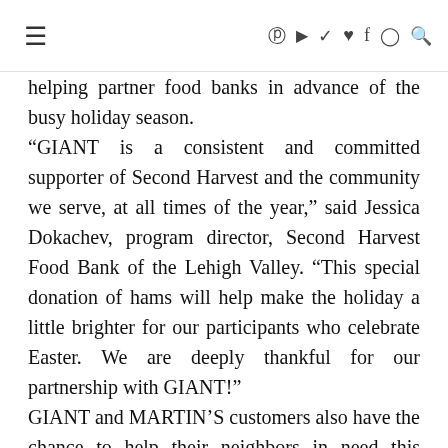≡  ℗ ▶ 🐦 ♥ f ⊙ 🔍
helping partner food banks in advance of the busy holiday season.
"GIANT is a consistent and committed supporter of Second Harvest and the community we serve, at all times of the year," said Jessica Dokachev, program director, Second Harvest Food Bank of the Lehigh Valley. "This special donation of hams will help make the holiday a little brighter for our participants who celebrate Easter. We are deeply thankful for our partnership with GIANT!"
GIANT and MARTIN'S customers also have the chance to help their neighbors in need this Easter by donating their free ham certificate to their local food bank. From now through April 21, customers can earn rewards points towards a free ham certificate every time they shop using their BonusCard. The certificates can be redeemed from April 12 through